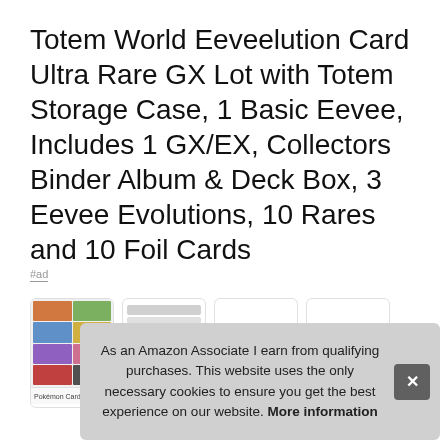Totem World Eeveelution Card Ultra Rare GX Lot with Totem Storage Case, 1 Basic Eevee, Includes 1 GX/EX, Collectors Binder Album & Deck Box, 3 Eevee Evolutions, 10 Rares and 10 Foil Cards
#ad
[Figure (screenshot): Row of product listing cards partially visible]
As an Amazon Associate I earn from qualifying purchases. This website uses the only necessary cookies to ensure you get the best experience on our website. More information